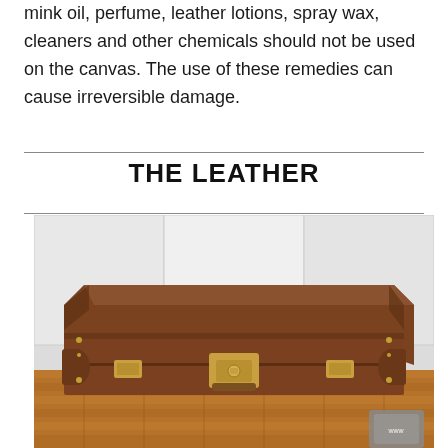mink oil, perfume, leather lotions, spray wax, cleaners and other chemicals should not be used on the canvas. The use of these remedies can cause irreversible damage.
THE LEATHER
[Figure (photo): A brown leather trunk/suitcase with gold-colored hardware clasps and locks, sitting on a wooden floor against a white wall background.]